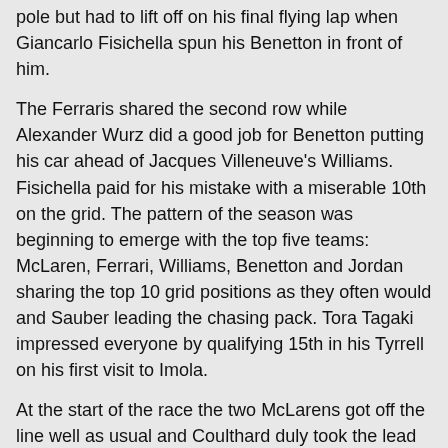pole but had to lift off on his final flying lap when Giancarlo Fisichella spun his Benetton in front of him.
The Ferraris shared the second row while Alexander Wurz did a good job for Benetton putting his car ahead of Jacques Villeneuve's Williams. Fisichella paid for his mistake with a miserable 10th on the grid. The pattern of the season was beginning to emerge with the top five teams: McLaren, Ferrari, Williams, Benetton and Jordan sharing the top 10 grid positions as they often would and Sauber leading the chasing pack. Tora Tagaki impressed everyone by qualifying 15th in his Tyrrell on his first visit to Imola.
At the start of the race the two McLarens got off the line well as usual and Coulthard duly took the lead from Hakkinen. Schumacher was third but found himself under attack from a fast-starting and aggressive-looking Villeneuve.
Wurz's promising qualifying was ruined within seconds as he suffered a gearbox problem as he accelerated away from the grid and to add insult to injury he was then rammed from behind by an over-enthusiastic Damon Hill.